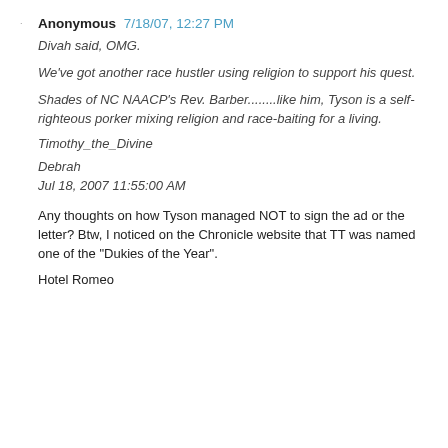Anonymous 7/18/07, 12:27 PM
Divah said, OMG.
We've got another race hustler using religion to support his quest.
Shades of NC NAACP's Rev. Barber........like him, Tyson is a self-righteous porker mixing religion and race-baiting for a living.
Timothy_the_Divine
Debrah
Jul 18, 2007 11:55:00 AM
Any thoughts on how Tyson managed NOT to sign the ad or the letter? Btw, I noticed on the Chronicle website that TT was named one of the "Dukies of the Year".
Hotel Romeo